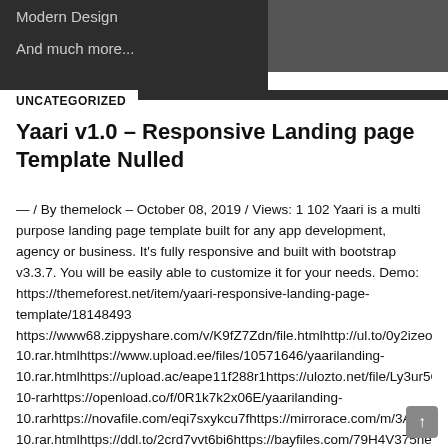Modern Design
And much more...
UNCATEGORIZED
Yaari v1.0 – Responsive Landing page Template Nulled
— / By themelock – October 08, 2019 / Views: 1 102 Yaari is a multi purpose landing page template built for any app development, agency or business. It's fully responsive and built with bootstrap v3.3.7. You will be easily able to customize it for your needs. Demo: https://themeforest.net/item/yaari-responsive-landing-page-template/18148493 https://www68.zippyshare.com/v/K9fZ7Zdn/file.htmlhttp://ul.to/0y2izeobhttp://uploadboy.me/e0mb08n805gb/yaarilanding-10.rar.htmlhttps://www.upload.ee/files/10571646/yaarilanding-10.rar.htmlhttps://upload.ac/eape11f288r1https://ulozto.net/file/Ly3ur5Qdbn1V/yaarilanding-10-rarhttps://openload.co/f/0R1k7k2x06E/yaarilanding-10.rarhttps://novafile.com/eqi7sxykcu7fhttps://mirrorace.com/m/3AOubhttps://mexa.sh/yxgeeoy7md48/yaarilanding-10.rar.htmlhttps://ddl.to/2crd7vvt6bi6https://bayfiles.com/79H4V375nehttps://anonfile.com/92H2Vf75n5https://4downfiles.org/07laaunesgjihttp s://1fichier.com/?pu6yq6bsyqg5hepw38qq Information! Users of Guests are [...] MORE